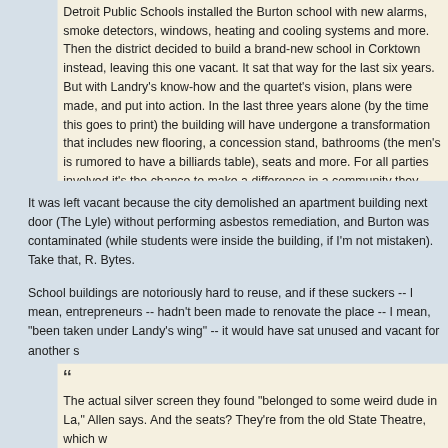Detroit Public Schools installed the Burton school with new alarms, smoke detectors, windows, heating and cooling systems and more. Then the district decided to build a brand-new school in Corktown instead, leaving this one vacant. It sat that way for the last six years. But with Landry's know-how and the quartet's vision, plans were made, and put into action. In the last three years alone (by the time this goes to print) the building will have undergone a transformation that includes new flooring, a concession stand, bathrooms (the men's is rumored to have a billiards table), seats and more. For all parties involved it's the chance to make a difference in a community they love and indulge in their shared passion for film.
It was left vacant because the city demolished an apartment building next door (The Lyle) without performing asbestos remediation, and Burton was contaminated (while students were inside the building, if I'm not mistaken). Take that, R. Bytes.
School buildings are notoriously hard to reuse, and if these suckers -- I mean, entrepreneurs -- hadn't been made to renovate the place -- I mean, "been taken under Landy's wing" -- it would have sat unused and vacant for another several
The actual silver screen they found "belonged to some weird dude in La," Allen says. And the seats? They're from the old State Theatre, which w